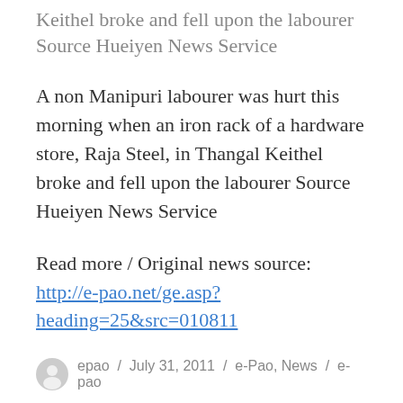Keithel broke and fell upon the labourer Source Hueiyen News Service
A non Manipuri labourer was hurt this morning when an iron rack of a hardware store, Raja Steel, in Thangal Keithel broke and fell upon the labourer Source Hueiyen News Service
Read more / Original news source: http://e-pao.net/ge.asp?heading=25&src=010811
epao / July 31, 2011 / e-Pao, News / e-pao
Locals storm Mayang Imphal Police Station